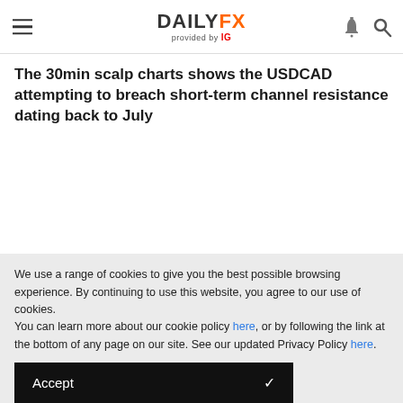DAILYFX provided by IG
The 30min scalp charts shows the USDCAD attempting to breach short-term channel resistance dating back to July
We use a range of cookies to give you the best possible browsing experience. By continuing to use this website, you agree to our use of cookies.
You can learn more about our cookie policy here, or by following the link at the bottom of any page on our site. See our updated Privacy Policy here.
Accept ✓